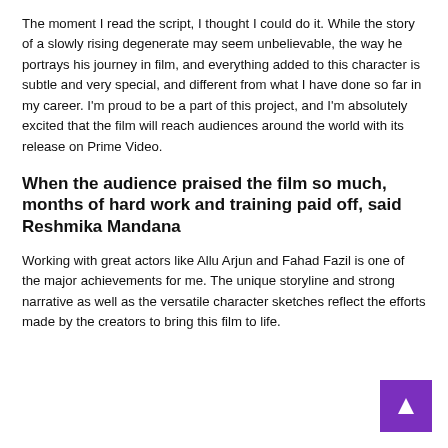The moment I read the script, I thought I could do it. While the story of a slowly rising degenerate may seem unbelievable, the way he portrays his journey in film, and everything added to this character is subtle and very special, and different from what I have done so far in my career. I'm proud to be a part of this project, and I'm absolutely excited that the film will reach audiences around the world with its release on Prime Video.
When the audience praised the film so much, months of hard work and training paid off, said Reshmika Mandana
Working with great actors like Allu Arjun and Fahad Fazil is one of the major achievements for me. The unique storyline and strong narrative as well as the versatile character sketches reflect the efforts made by the creators to bring this film to life.